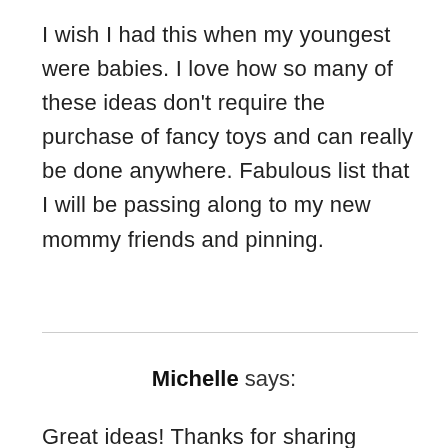I wish I had this when my youngest were babies. I love how so many of these ideas don't require the purchase of fancy toys and can really be done anywhere. Fabulous list that I will be passing along to my new mommy friends and pinning.
Michelle says:
Great ideas! Thanks for sharing